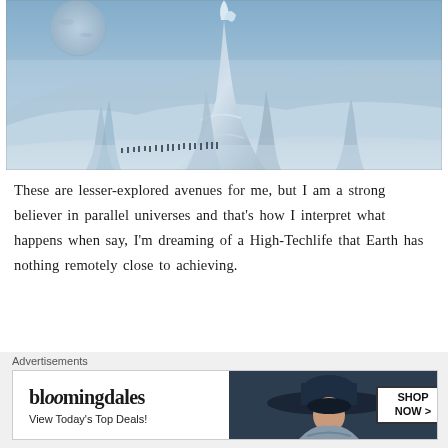[Figure (illustration): A dramatic sci-fi/fantasy landscape showing a massive ice or rock formation towering in a misty blue atmosphere with a moon or planet in the background. A line of small human figures traverses a snowy plain at the base of the monumental structure.]
These are lesser-explored avenues for me, but I am a strong believer in parallel universes and that's how I interpret what happens when say, I'm dreaming of a High-Techlife that Earth has nothing remotely close to achieving.
Advertisements
[Figure (photo): Bloomingdale's advertisement banner. Left side shows 'bloomingdales' logo and 'View Today's Top Deals!' text. Center shows a woman wearing a large dark wide-brim hat. Right side has a box reading 'SHOP NOW >']